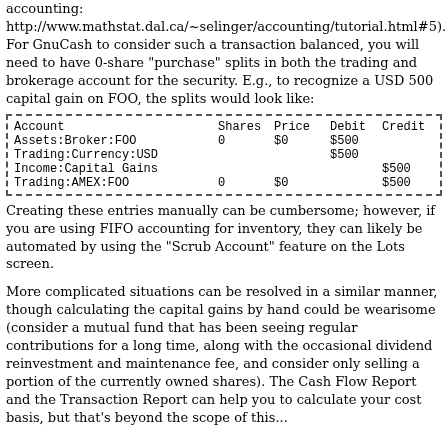accounting: http://www.mathstat.dal.ca/~selinger/accounting/tutorial.html#5). For GnuCash to consider such a transaction balanced, you will need to have 0-share "purchase" splits in both the trading and brokerage account for the security. E.g., to recognize a USD 500 capital gain on FOO, the splits would look like:
| Account | Shares | Price | Debit | Credit |
| --- | --- | --- | --- | --- |
| Assets:Broker:FOO | 0 | $0 | $500 |  |
| Trading:Currency:USD |  |  | $500 |  |
| Income:Capital Gains |  |  |  | $500 |
| Trading:AMEX:FOO | 0 | $0 |  | $500 |
Creating these entries manually can be cumbersome; however, if you are using FIFO accounting for inventory, they can likely be automated by using the "Scrub Account" feature on the Lots screen.
More complicated situations can be resolved in a similar manner, though calculating the capital gains by hand could be wearisome (consider a mutual fund that has been seeing regular contributions for a long time, along with the occasional dividend reinvestment and maintenance fee, and consider only selling a portion of the currently owned shares). The Cash Flow Report and the Transaction Report can help you to calculate your cost basis, but that's beyond the scope of this...